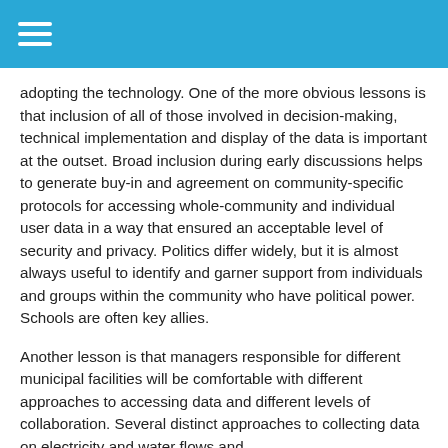adopting the technology.  One of the more obvious lessons is that inclusion of all of those involved in decision-making, technical implementation and display of the data is important at the outset.  Broad inclusion during early discussions helps to generate buy-in and agreement on community-specific protocols for accessing whole-community and individual user data in a way that ensured an acceptable level of security and privacy. Politics differ widely, but it is almost always useful to identify and garner support from individuals and groups within the community who have political power.  Schools are often key allies.
Another lesson is that managers responsible for different municipal facilities will be comfortable with different approaches to accessing data and different levels of collaboration.   Several distinct approaches to collecting data on electricity and water flows and